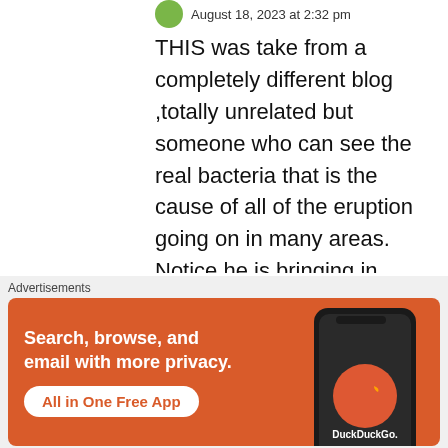August 18, 2023 at 2:32 pm
THIS was take from a completely different blog ,totally unrelated but someone who can see the real bacteria that is the cause of all of the eruption going on in many areas. Notice he is bringing in SAFFORD , and the dirty connection there . The AZBON has a member from SAFFORD , and it
Advertisements
[Figure (screenshot): DuckDuckGo advertisement banner with orange background. Text reads: Search, browse, and email with more privacy. All in One Free App. Shows a smartphone with DuckDuckGo logo.]